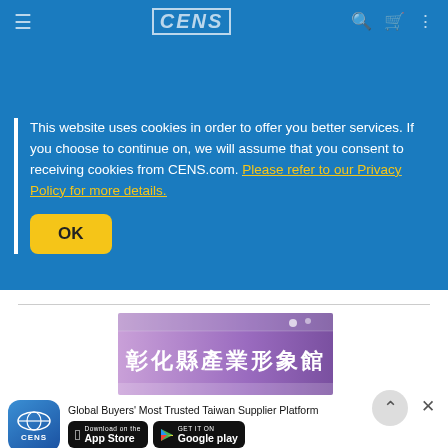CENS
Cookies
This website uses cookies in order to offer you better services. If you choose to continue on, we will assume that you consent to receiving cookies from CENS.com. Please refer to our Privacy Policy for more details.
OK
The COVID-19 pandemic has accelerated the industries' timeline for implementing digital transformation. However, the how's and what's of...
[Figure (photo): Exhibition booth with Chinese characters '彰化縣產業形象館' on a purple/pink banner]
Global Buyers' Most Trusted Taiwan Supplier Platform
[Figure (logo): CENS app icon — blue background with globe and CENS text]
Download on the App Store
GET IT ON Google play